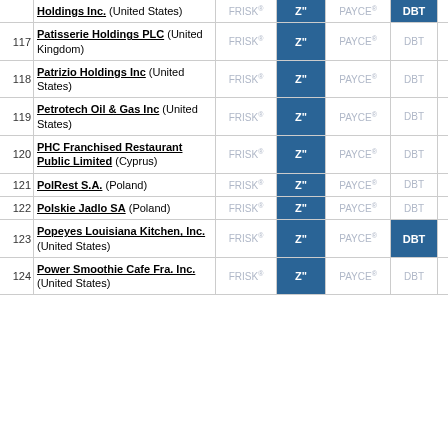| # | Company | FRISK® | Z" | PAYCE® | DBT | Moody's |
| --- | --- | --- | --- | --- | --- | --- |
|  | Holdings Inc. (United States) | FRISK® | Z" | PAYCE® | DBT | Moody's |
| 117 | Patisserie Holdings PLC (United Kingdom) | FRISK® | Z" | PAYCE® | DBT | Moody's |
| 118 | Patrizio Holdings Inc (United States) | FRISK® | Z" | PAYCE® | DBT | Moody's |
| 119 | Petrotech Oil & Gas Inc (United States) | FRISK® | Z" | PAYCE® | DBT | Moody's |
| 120 | PHC Franchised Restaurant Public Limited (Cyprus) | FRISK® | Z" | PAYCE® | DBT | Moody's |
| 121 | PolRest S.A. (Poland) | FRISK® | Z" | PAYCE® | DBT | Moody's |
| 122 | Polskie Jadlo SA (Poland) | FRISK® | Z" | PAYCE® | DBT | Moody's |
| 123 | Popeyes Louisiana Kitchen, Inc. (United States) | FRISK® | Z" | PAYCE® | DBT | Moody's |
| 124 | Power Smoothie Cafe Fra. Inc. (United States) | FRISK® | Z" | PAYCE® | DBT | Moody's |